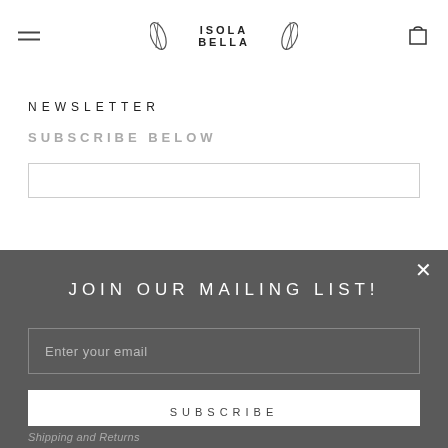ISOLA BELLA
NEWSLETTER
SUBSCRIBE BELOW
[Figure (screenshot): Modal popup overlay with dark gray background containing 'JOIN OUR MAILING LIST!' title, an email input field with placeholder 'Enter your email', and a white SUBSCRIBE button. A close X button is in the top right.]
Shipping and Returns